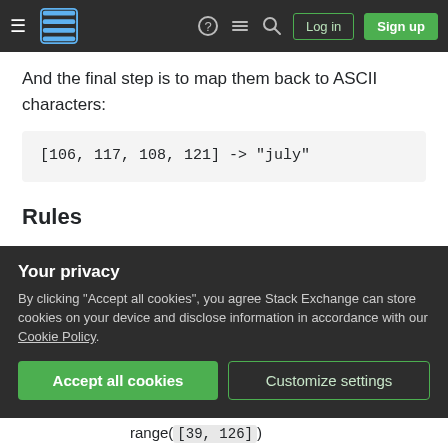Stack Exchange navigation bar with logo, login and sign up buttons
And the final step is to map them back to ASCII characters:
Rules
You will write a program/function that implements the described steps on two strings and either prints or returns the resulting string
Your privacy
By clicking "Accept all cookies", you agree Stack Exchange can store cookies on your device and disclose information in accordance with our Cookie Policy.
Accept all cookies   Customize settings
range([39, 126])